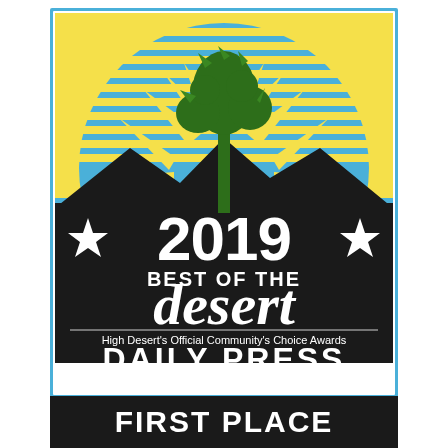[Figure (logo): 2019 Best of the Desert award logo from Daily Press (vvdailypress.com). Features a Joshua tree silhouette against a blue sky with yellow sunburst rays, dark mountain silhouette, white stars, and text reading '2019 BEST OF THE desert - High Desert's Official Community's Choice Awards - DAILY PRESS - vvdailypress.com'. Blue border surrounds the badge.]
FIRST PLACE